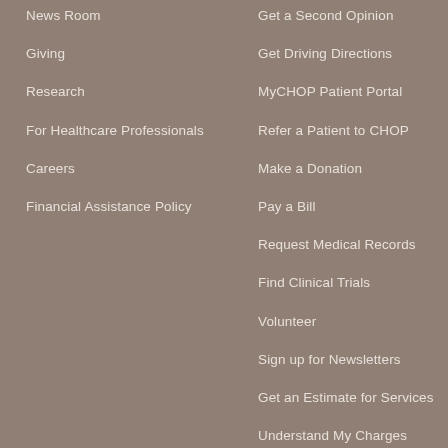News Room
Giving
Research
For Healthcare Professionals
Careers
Financial Assistance Policy
Get a Second Opinion
Get Driving Directions
MyCHOP Patient Portal
Refer a Patient to CHOP
Make a Donation
Pay a Bill
Request Medical Records
Find Clinical Trials
Volunteer
Sign up for Newsletters
Get an Estimate for Services
Understand My Charges